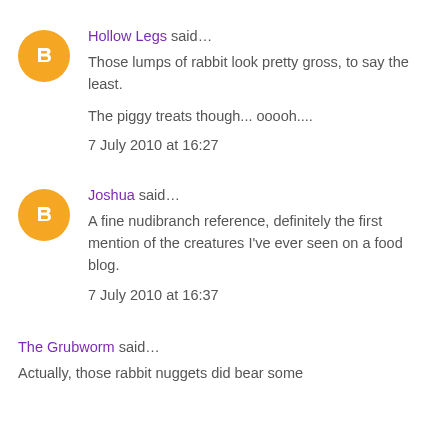Hollow Legs said…
Those lumps of rabbit look pretty gross, to say the least.

The piggy treats though... ooooh....
7 July 2010 at 16:27
Joshua said…
A fine nudibranch reference, definitely the first mention of the creatures I've ever seen on a food blog.
7 July 2010 at 16:37
The Grubworm said…
Actually, those rabbit nuggets did bear some